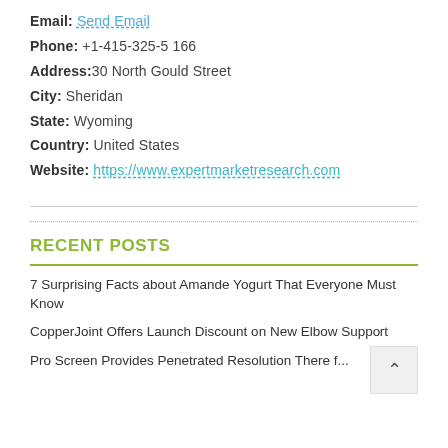Email: Send Email
Phone: +1-415-325-5166
Address: 30 North Gould Street
City: Sheridan
State: Wyoming
Country: United States
Website: https://www.expertmarketresearch.com
RECENT POSTS
7 Surprising Facts about Amande Yogurt That Everyone Must Know
CopperJoint Offers Launch Discount on New Elbow Support
Pro Screen Provides Penetrated Resolution There f...